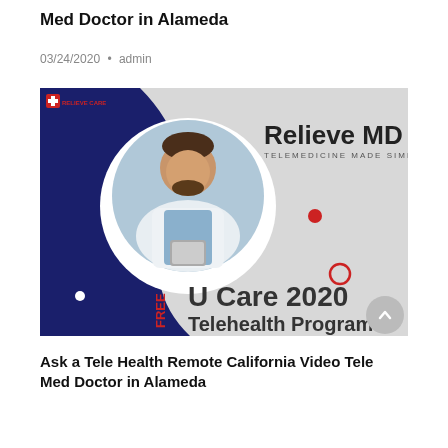Med Doctor in Alameda
03/24/2020 • admin
[Figure (illustration): Promotional banner for Relieve MD Telemedicine and Free U Care 2020 Telehealth Program, featuring a male doctor in a white coat holding a tablet, set against a dark blue and light grey background with decorative shapes and red dots.]
Ask a Tele Health Remote California Video Tele Med Doctor in Alameda